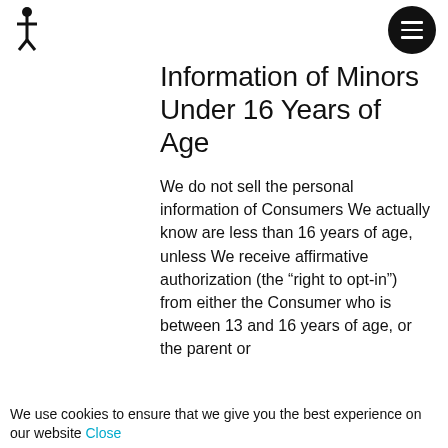[Figure (logo): Small figure/person icon logo in top left]
[Figure (other): Black circular hamburger menu button in top right]
Information of Minors Under 16 Years of Age
We do not sell the personal information of Consumers We actually know are less than 16 years of age, unless We receive affirmative authorization (the “right to opt-in”) from either the Consumer who is between 13 and 16 years of age, or the parent or
We use cookies to ensure that we give you the best experience on our website Close